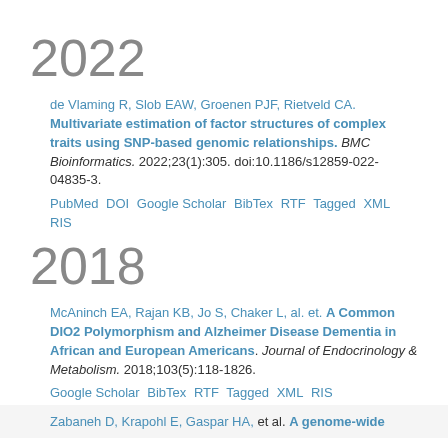2022
de Vlaming R, Slob EAW, Groenen PJF, Rietveld CA. Multivariate estimation of factor structures of complex traits using SNP-based genomic relationships. BMC Bioinformatics. 2022;23(1):305. doi:10.1186/s12859-022-04835-3.
PubMed  DOI  Google Scholar  BibTex  RTF  Tagged  XML  RIS
2018
McAninch EA, Rajan KB, Jo S, Chaker L, al. et. A Common DIO2 Polymorphism and Alzheimer Disease Dementia in African and European Americans. Journal of Endocrinology & Metabolism. 2018;103(5):118-1826.
Google Scholar  BibTex  RTF  Tagged  XML  RIS
Zabaneh D, Krapohl E, Gaspar HA, et al. A genome-wide